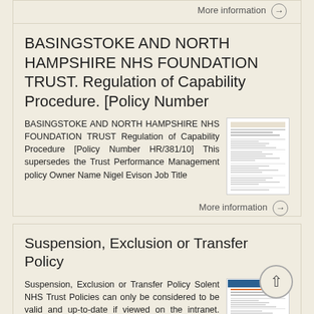More information →
BASINGSTOKE AND NORTH HAMPSHIRE NHS FOUNDATION TRUST. Regulation of Capability Procedure. [Policy Number
BASINGSTOKE AND NORTH HAMPSHIRE NHS FOUNDATION TRUST Regulation of Capability Procedure [Policy Number HR/381/10] This supersedes the Trust Performance Management policy Owner Name Nigel Evison Job Title
[Figure (screenshot): Thumbnail image of a document page with formatted text and table]
More information →
Suspension, Exclusion or Transfer Policy
Suspension, Exclusion or Transfer Policy Solent NHS Trust Policies can only be considered to be valid and up-to-date if viewed on the intranet. Please visit the intranet for the latest version. Purpose
[Figure (screenshot): Thumbnail image of a document page with blue header and formatted text]